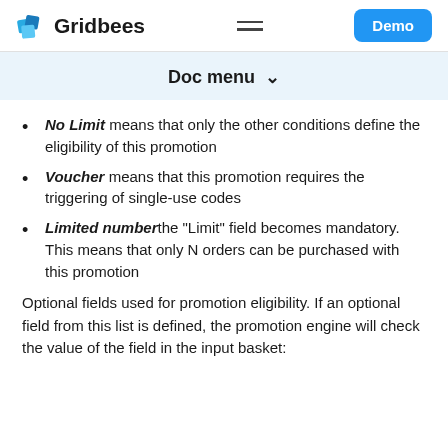Gridbees | Demo
Doc menu ∨
No Limit means that only the other conditions define the eligibility of this promotion
Voucher means that this promotion requires the triggering of single-use codes
Limited number the "Limit" field becomes mandatory. This means that only N orders can be purchased with this promotion
Optional fields used for promotion eligibility. If an optional field from this list is defined, the promotion engine will check the value of the field in the input basket: